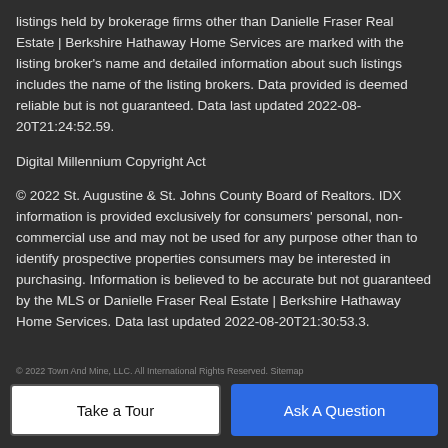listings held by brokerage firms other than Danielle Fraser Real Estate | Berkshire Hathaway Home Services are marked with the listing broker's name and detailed information about such listings includes the name of the listing brokers. Data provided is deemed reliable but is not guaranteed. Data last updated 2022-08-20T21:24:52.59.
Digital Millennium Copyright Act
© 2022 St. Augustine & St. Johns County Board of Realtors. IDX information is provided exclusively for consumers' personal, non-commercial use and may not be used for any purpose other than to identify prospective properties consumers may be interested in purchasing. Information is believed to be accurate but not guaranteed by the MLS or Danielle Fraser Real Estate | Berkshire Hathaway Home Services. Data last updated 2022-08-20T21:30:53.3.
© 2022 Town And Mine, LLC. All International Rights Reserved. Sitemap